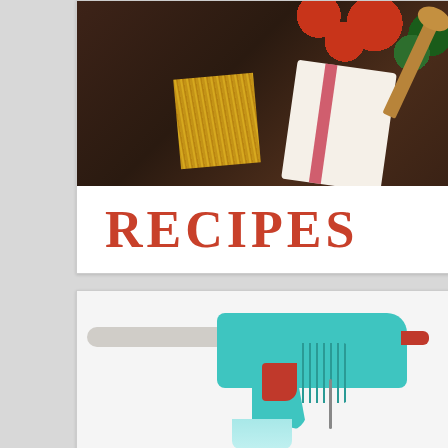[Figure (photo): Overhead view of food ingredients on a dark wooden surface: cherry tomatoes, fresh basil leaves, dry spaghetti pasta, a wooden spoon, and a striped kitchen towel with red stripes]
RECIPES
[Figure (photo): A teal/turquoise hot glue gun with orange accents and trigger, a grey glue stick inserted, shown on a white background, partially cropped at the bottom]